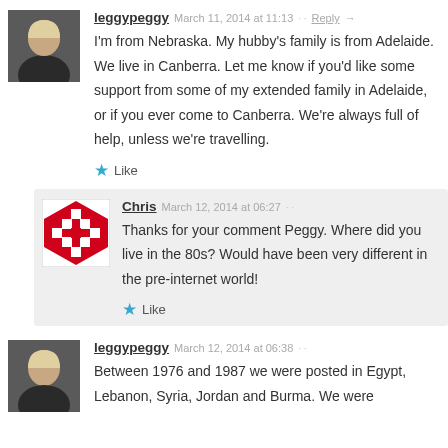leggypeggy  March 11, 2014 at 11:13  Reply
I'm from Nebraska. My hubby's family is from Adelaide. We live in Canberra. Let me know if you'd like some support from some of my extended family in Adelaide, or if you ever come to Canberra. We're always full of help, unless we're travelling.
★ Like
Chris  March 12, 2014 at 06:27
Thanks for your comment Peggy. Where did you live in the 80s? Would have been very different in the pre-internet world!
★ Like
leggypeggy  March 12, 2014 at 06:38
Between 1976 and 1987 we were posted in Egypt, Lebanon, Syria, Jordan and Burma. We were